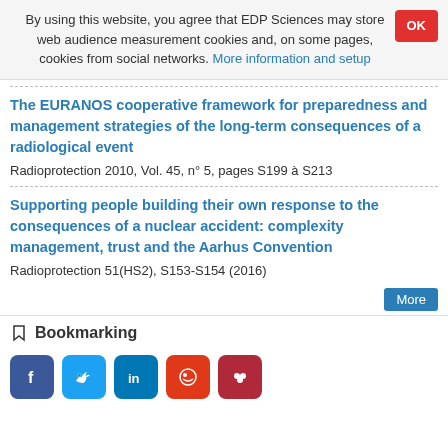By using this website, you agree that EDP Sciences may store web audience measurement cookies and, on some pages, cookies from social networks. More information and setup
The EURANOS cooperative framework for preparedness and management strategies of the long-term consequences of a radiological event
Radioprotection 2010, Vol. 45, n° 5, pages S199 à S213
Supporting people building their own response to the consequences of a nuclear accident: complexity management, trust and the Aarhus Convention
Radioprotection 51(HS2), S153-S154 (2016)
More
Bookmarking
[Figure (other): Social media sharing buttons: Facebook, Twitter, LinkedIn, Weibo, Mendeley]